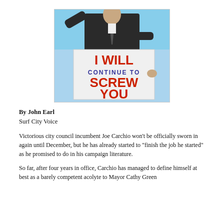[Figure (photo): A man in a suit holding a sign that reads 'I WILL CONTINUE TO SCREW YOU' in large red and blue text against a blue sky background.]
By John Earl
Surf City Voice
Victorious city council incumbent Joe Carchio won't be officially sworn in again until December, but he has already started to "finish the job he started" as he promised to do in his campaign literature.
So far, after four years in office, Carchio has managed to define himself at best as a barely competent acolyte to Mayor Cathy Green